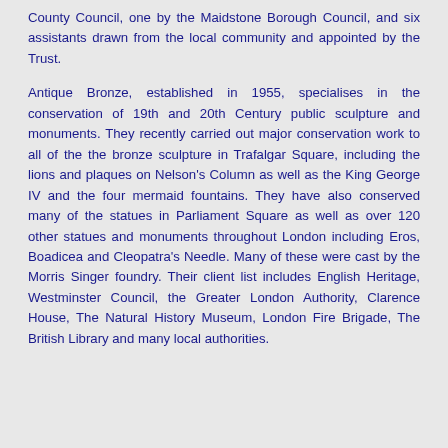County Council, one by the Maidstone Borough Council, and six assistants drawn from the local community and appointed by the Trust.
Antique Bronze, established in 1955, specialises in the conservation of 19th and 20th Century public sculpture and monuments. They recently carried out major conservation work to all of the the bronze sculpture in Trafalgar Square, including the lions and plaques on Nelson's Column as well as the King George IV and the four mermaid fountains. They have also conserved many of the statues in Parliament Square as well as over 120 other statues and monuments throughout London including Eros, Boadicea and Cleopatra's Needle. Many of these were cast by the Morris Singer foundry. Their client list includes English Heritage, Westminster Council, the Greater London Authority, Clarence House, The Natural History Museum, London Fire Brigade, The British Library and many local authorities.